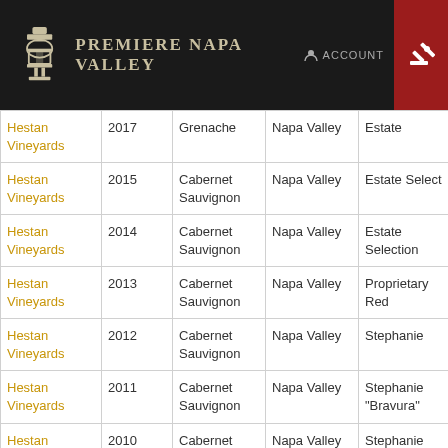PREMIERE NAPA VALLEY
| Winery | Year | Variety | Region | Label | # |
| --- | --- | --- | --- | --- | --- |
| Hestan Vineyards | 2017 | Grenache | Napa Valley | Estate | 22 |
| Hestan Vineyards | 2015 | Cabernet Sauvignon | Napa Valley | Estate Select | 21 |
| Hestan Vineyards | 2014 | Cabernet Sauvignon | Napa Valley | Estate Selection | 20 |
| Hestan Vineyards | 2013 | Cabernet Sauvignon | Napa Valley | Proprietary Red | 19 |
| Hestan Vineyards | 2012 | Cabernet Sauvignon | Napa Valley | Stephanie | 18 |
| Hestan Vineyards | 2011 | Cabernet Sauvignon | Napa Valley | Stephanie "Bravura" | 17 |
| Hestan Vineyards | 2010 | Cabernet Sauvignon | Napa Valley | Stephanie | 16 |
| Hestan Vineyards | 2009 | Cabernet Sauvignon | Napa Valley | Stephanie | 15 |